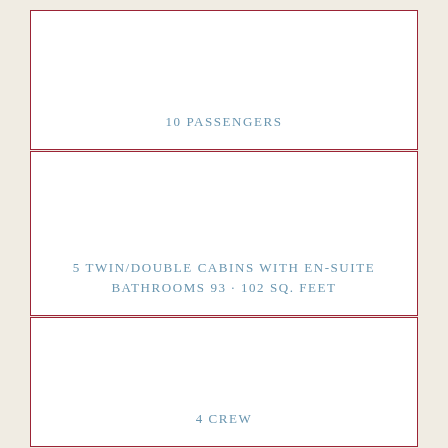10 PASSENGERS
5 TWIN/DOUBLE CABINS WITH EN-SUITE BATHROOMS 93 - 102 SQ. FEET
4 CREW